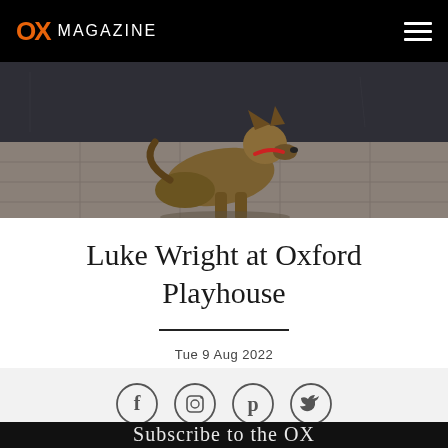OX MAGAZINE
[Figure (photo): A German Shepherd dog sitting on a paved pavement in front of a dark wall, viewed from behind/side at a low angle.]
Luke Wright at Oxford Playhouse
Tue 9 Aug 2022
[Figure (other): Social media icons: Facebook, Instagram, Pinterest, Twitter — circular outlines]
Subscribe to the OX